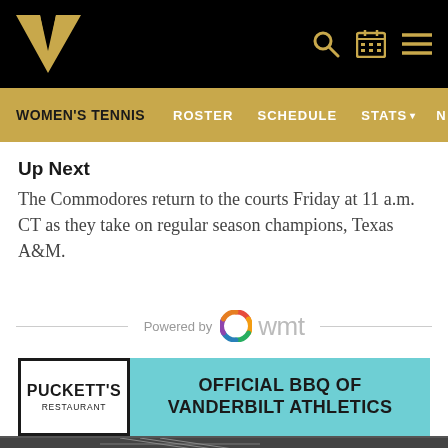Vanderbilt Women's Tennis - WOMEN'S TENNIS | ROSTER | SCHEDULE | STATS | N
Up Next
The Commodores return to the courts Friday at 11 a.m. CT as they take on regular season champions, Texas A&M.
[Figure (logo): Powered by wmt logo with colorful circular icon]
[Figure (infographic): Puckett's Restaurant - Official BBQ of Vanderbilt Athletics advertisement banner]
[Figure (photo): Partial view of a tennis racket at the bottom of the page]